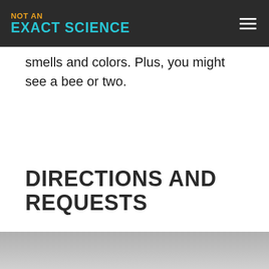NOT AN EXACT SCIENCE
smells and colors. Plus, you might see a bee or two.
DIRECTIONS AND REQUESTS
[Figure (photo): Partial photo visible at the bottom of the page, appears to show a person or scene, mostly cropped out of view.]